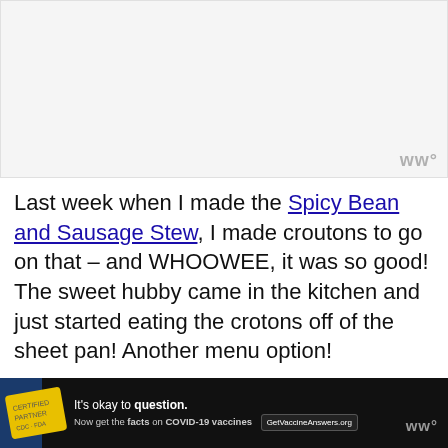[Figure (photo): Image placeholder area, light gray background with a small WW logo in grey in the bottom right corner]
Last week when I made the Spicy Bean and Sausage Stew, I made croutons to go on that – and WHOOWEE, it was so good! The sweet hubby came in the kitchen and just started eating the crotons off of the sheet pan! Another menu option!
Try these on top of some delicious Italian Summer Soup!
[Figure (infographic): Advertisement bar at bottom: black background, yellow stamp logo on left, text 'It's okay to question. Now get the facts on COVID-19 vaccines' with GetVaccineAnswers.org button, X close button, WW logo on right, blue band on far left]